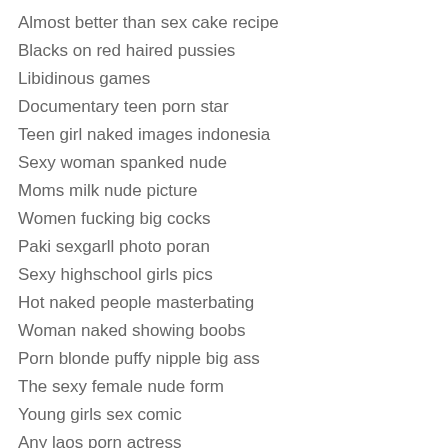Almost better than sex cake recipe
Blacks on red haired pussies
Libidinous games
Documentary teen porn star
Teen girl naked images indonesia
Sexy woman spanked nude
Moms milk nude picture
Women fucking big cocks
Paki sexgarll photo poran
Sexy highschool girls pics
Hot naked people masterbating
Woman naked showing boobs
Porn blonde puffy nipple big ass
The sexy female nude form
Young girls sex comic
Any laos porn actress
Sexy jennif lopez nue
Women of lnga naked